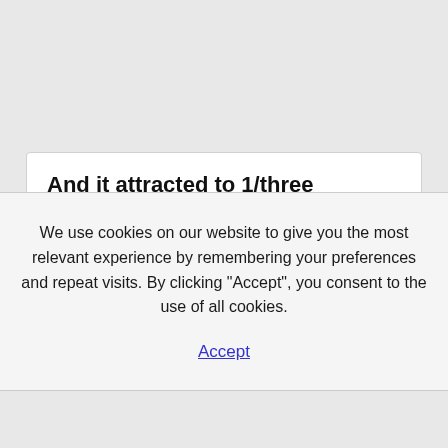And it attracted to 1/three Minecraft users
We use cookies on our website to give you the most relevant experience by remembering your preferences and repeat visits. By clicking “Accept”, you consent to the use of all cookies.
Accept
Minecraft video games on-line? Once you wish to create something in line with your expertise or creativity, you already know where is the perfect place for you to